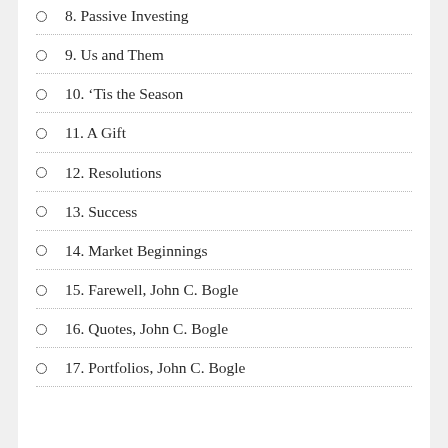8. Passive Investing
9. Us and Them
10. ‘Tis the Season
11. A Gift
12. Resolutions
13. Success
14. Market Beginnings
15. Farewell, John C. Bogle
16. Quotes, John C. Bogle
17. Portfolios, John C. Bogle